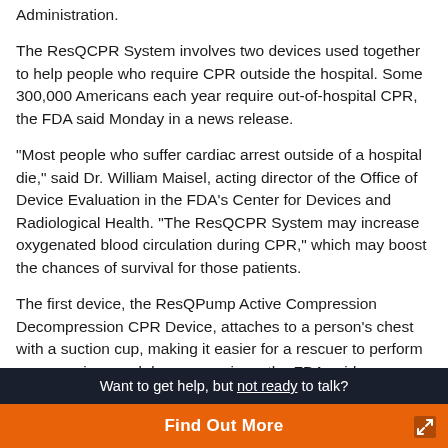Administration.
The ResQCPR System involves two devices used together to help people who require CPR outside the hospital. Some 300,000 Americans each year require out-of-hospital CPR, the FDA said Monday in a news release.
"Most people who suffer cardiac arrest outside of a hospital die," said Dr. William Maisel, acting director of the Office of Device Evaluation in the FDA's Center for Devices and Radiological Health. "The ResQCPR System may increase oxygenated blood circulation during CPR," which may boost the chances of survival for those patients.
The first device, the ResQPump Active Compression Decompression CPR Device, attaches to a person's chest with a suction cup, making it easier for a rescuer to perform compressions and decompressions, the FDA said.
Want to get help, but not ready to talk? Find Out More